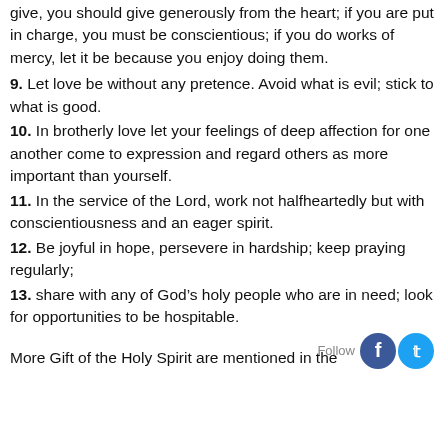give, you should give generously from the heart; if you are put in charge, you must be conscientious; if you do works of mercy, let it be because you enjoy doing them.
9. Let love be without any pretence. Avoid what is evil; stick to what is good.
10. In brotherly love let your feelings of deep affection for one another come to expression and regard others as more important than yourself.
11. In the service of the Lord, work not halfheartedly but with conscientiousness and an eager spirit.
12. Be joyful in hope, persevere in hardship; keep praying regularly;
13. share with any of God’s holy people who are in need; look for opportunities to be hospitable.
More Gift of the Holy Spirit are mentioned in the